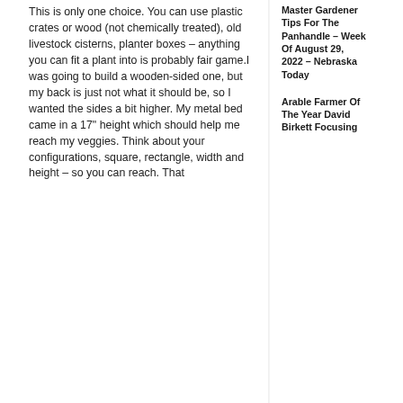This is only one choice. You can use plastic crates or wood (not chemically treated), old livestock cisterns, planter boxes – anything you can fit a plant into is probably fair game.I was going to build a wooden-sided one, but my back is just not what it should be, so I wanted the sides a bit higher. My metal bed came in a 17" height which should help me reach my veggies. Think about your configurations, square, rectangle, width and height – so you can reach. That
Master Gardener Tips For The Panhandle – Week Of August 29, 2022 – Nebraska Today
Arable Farmer Of The Year David Birkett Focusing